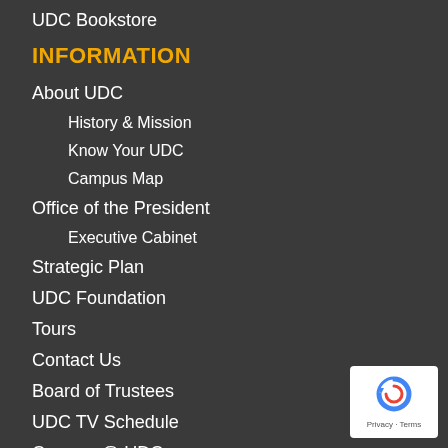UDC Bookstore
INFORMATION
About UDC
History & Mission
Know Your UDC
Campus Map
Office of the President
Executive Cabinet
Strategic Plan
UDC Foundation
Tours
Contact Us
Board of Trustees
UDC TV Schedule
Careers @ UDC
[Figure (logo): reCAPTCHA badge with Privacy and Terms text]